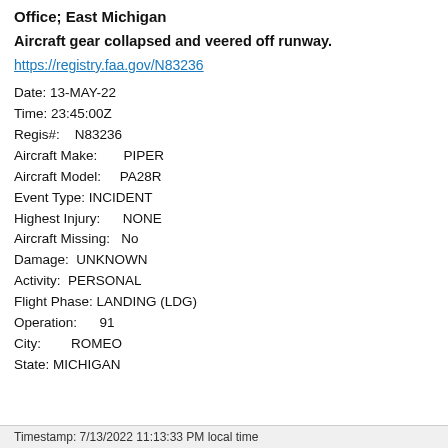Office; East Michigan
Aircraft gear collapsed and veered off runway.
https://registry.faa.gov/N83236
Date: 13-MAY-22
Time: 23:45:00Z
Regis#: N83236
Aircraft Make: PIPER
Aircraft Model: PA28R
Event Type: INCIDENT
Highest Injury: NONE
Aircraft Missing: No
Damage: UNKNOWN
Activity: PERSONAL
Flight Phase: LANDING (LDG)
Operation: 91
City: ROMEO
State: MICHIGAN
Timestamp: 7/13/2022 11:13:33 PM local time